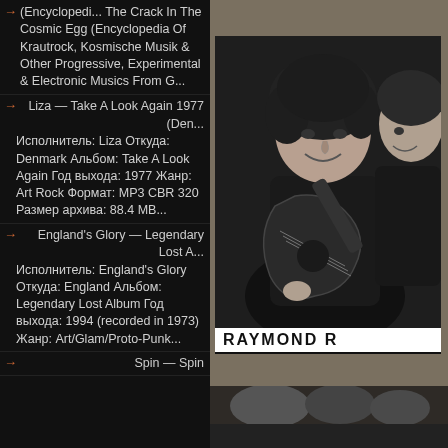(Encyclopedi... The Crack In The Cosmic Egg (Encyclopedia Of Krautrock, Kosmische Musik & Other Progressive, Experimental & Electronic Musics From G...
Liza — Take A Look Again 1977 (Den... Исполнитель: Liza Откуда: Denmark Альбом: Take A Look Again Год выхода: 1977 Жанр: Art Rock Формат: MP3 CBR 320 Размер архива: 88.4 MB...
England's Glory — Legendary Lost A... Исполнитель: England's Glory Откуда: England Альбом: Legendary Lost Album Год выхода: 1994 (recorded in 1973) Жанр: Art/Glam/Proto-Punk...
Spin — Spin
[Figure (photo): Black and white photo of two musicians, one playing guitar, labeled RAYMOND at the bottom]